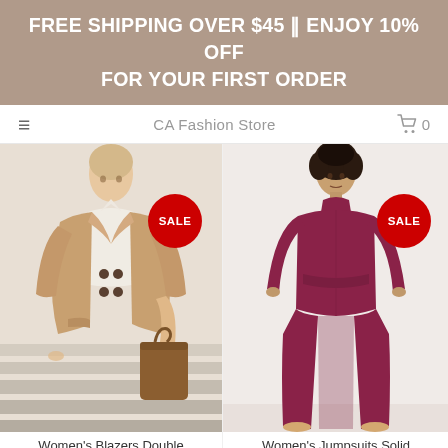FREE SHIPPING OVER $45 || ENJOY 10% OFF FOR YOUR FIRST ORDER
≡   CA Fashion Store   🛒 0
[Figure (photo): Women's camel-colored double-breasted blazer with SALE badge]
[Figure (photo): Women's solid purple/magenta full-length jumpsuit with SALE badge]
Women's Blazers Double
Women's Jumpsuits Solid